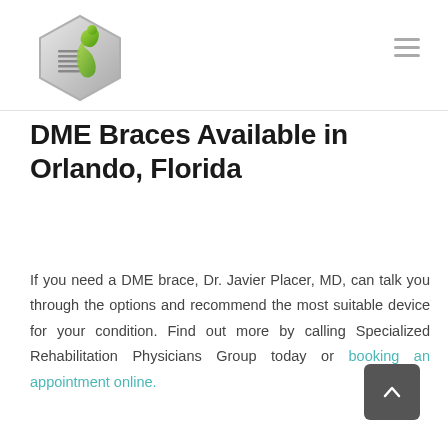[Figure (logo): Specialized Rehabilitation Physicians Group hexagonal logo with green swoosh figure and metallic border]
DME Braces Available in Orlando, Florida
If you need a DME brace, Dr. Javier Placer, MD, can talk you through the options and recommend the most suitable device for your condition. Find out more by calling Specialized Rehabilitation Physicians Group today or booking an appointment online.